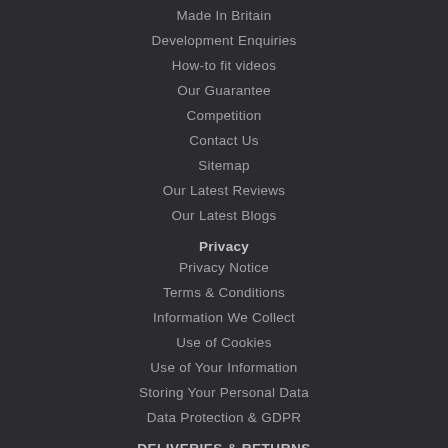Made In Britain
Development Enquiries
How-to fit videos
Our Guarantee
Competition
Contact Us
Sitemap
Our Latest Reviews
Our Latest Blogs
Privacy
Privacy Notice
Terms & Conditions
Information We Collect
Use of Cookies
Use of Your Information
Storing Your Personal Data
Data Protection & GDPR
DELIVERIES & RETURNS
Order Enquiry
Free Fitting
Delivery Prices